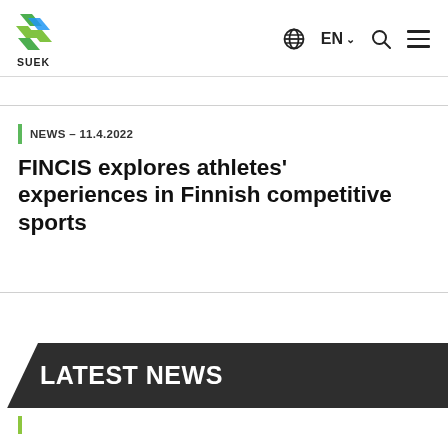SUEK — EN navigation header with globe, language selector, search, and menu icons
NEWS – 11.4.2022
FINCIS explores athletes' experiences in Finnish competitive sports
LATEST NEWS